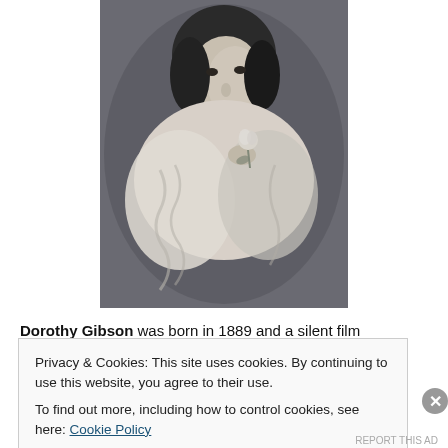[Figure (photo): Black and white vintage photograph of Dorothy Gibson, a young woman holding a flower, wearing a light-colored dress with fur or feathered wrap, looking slightly over her shoulder]
Dorothy Gibson was born in 1889 and a silent film
Privacy & Cookies: This site uses cookies. By continuing to use this website, you agree to their use.
To find out more, including how to control cookies, see here: Cookie Policy
Close and accept
REPORT THIS AD